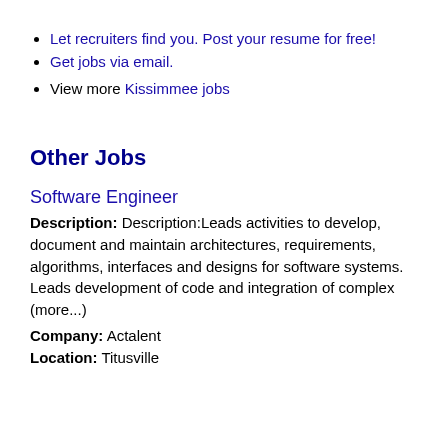Let recruiters find you. Post your resume for free!
Get jobs via email.
View more Kissimmee jobs
Other Jobs
Software Engineer
Description: Description:Leads activities to develop, document and maintain architectures, requirements, algorithms, interfaces and designs for software systems. Leads development of code and integration of complex (more...)
Company: Actalent
Location: Titusville